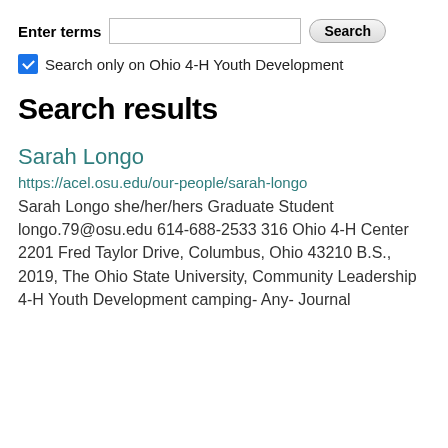Enter terms [search input] Search
Search only on Ohio 4-H Youth Development
Search results
Sarah Longo
https://acel.osu.edu/our-people/sarah-longo
Sarah Longo she/her/hers Graduate Student longo.79@osu.edu 614-688-2533 316 Ohio 4-H Center 2201 Fred Taylor Drive, Columbus, Ohio 43210 B.S., 2019, The Ohio State University, Community Leadership 4-H Youth Development camping- Any- Journal